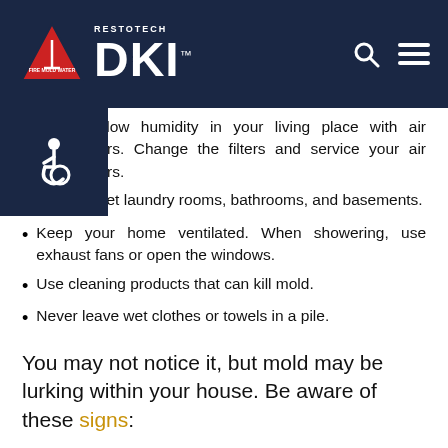RESTOTECH DKI
Maintain low humidity in your living place with air conditioners. Change the filters and service your air conditioners.
Don’t carpet laundry rooms, bathrooms, and basements.
Keep your home ventilated. When showering, use exhaust fans or open the windows.
Use cleaning products that can kill mold.
Never leave wet clothes or towels in a pile.
Assure water drains away from your house.
You may not notice it, but mold may be lurking within your house. Be aware of these signs: